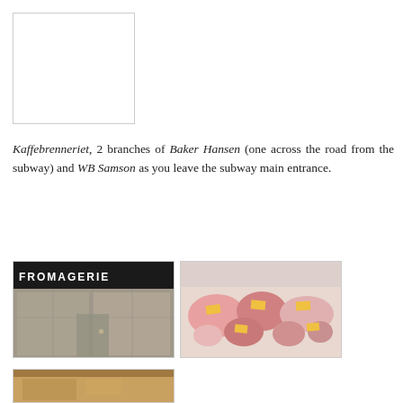[Figure (photo): White/blank placeholder photo box with border]
Kaffebrenneriet, 2 branches of Baker Hansen (one across the road from the subway) and WB Samson as you leave the subway main entrance.
[Figure (photo): Fromagerie shop front with dark signage reading FROMAGERIE and glass window reflecting building]
[Figure (photo): Meat and deli counter display with various cuts and orange price tags]
[Figure (photo): Partial view of another shop or market stall at bottom of page]